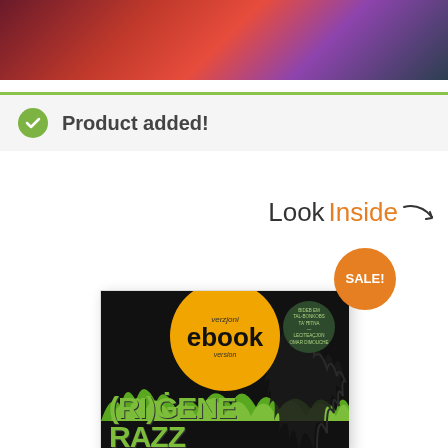[Figure (photo): Banner photo strip at top of page with blurred colorful background]
Product added!
Look Inside ↘
[Figure (illustration): Book cover for (Ri)Generazz ebook version — black cover with green flames, orange circle with ebook text, dark green badge, and stylized green title text. SALE! badge in orange circle overlaid.]